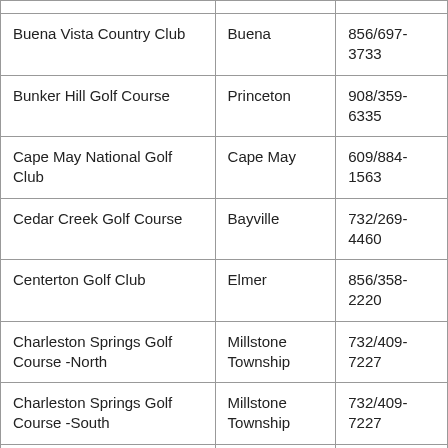| Buena Vista Country Club | Buena | 856/697-3733 |
| Bunker Hill Golf Course | Princeton | 908/359-6335 |
| Cape May National Golf Club | Cape May | 609/884-1563 |
| Cedar Creek Golf Course | Bayville | 732/269-4460 |
| Centerton Golf Club | Elmer | 856/358-2220 |
| Charleston Springs Golf Course -North | Millstone Township | 732/409-7227 |
| Charleston Springs Golf Course -South | Millstone Township | 732/409-7227 |
| Cohanzick Country Club | Fairton | 856/455-3127 |